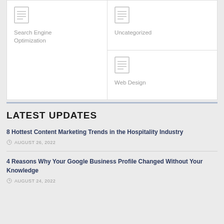[Figure (screenshot): Category card with document icon for 'Search Engine Optimization']
Search Engine Optimization
[Figure (screenshot): Category card with document icon for 'Uncategorized']
Uncategorized
[Figure (screenshot): Category card with document icon for 'Web Design']
Web Design
LATEST UPDATES
8 Hottest Content Marketing Trends in the Hospitality Industry
AUGUST 26, 2022
4 Reasons Why Your Google Business Profile Changed Without Your Knowledge
AUGUST 24, 2022